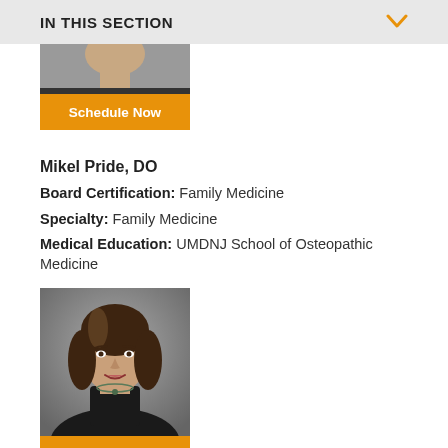IN THIS SECTION
[Figure (photo): Partial photo of a person, cropped at top of page, only lower face/neck visible]
Schedule Now
Mikel Pride, DO
Board Certification: Family Medicine
Specialty: Family Medicine
Medical Education: UMDNJ School of Osteopathic Medicine
[Figure (photo): Professional headshot of a woman with dark hair wearing a black top and necklace, smiling, against a gray background]
Schedule Now